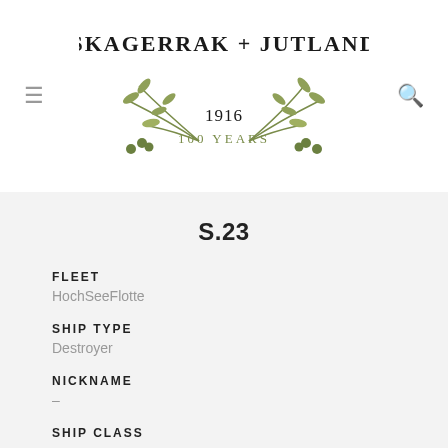[Figure (logo): Skagerrak + Jutland 1916 100 Years logo with olive branch illustration]
S.23
FLEET
HochSeeFlotte
SHIP TYPE
Destroyer
NICKNAME
–
SHIP CLASS